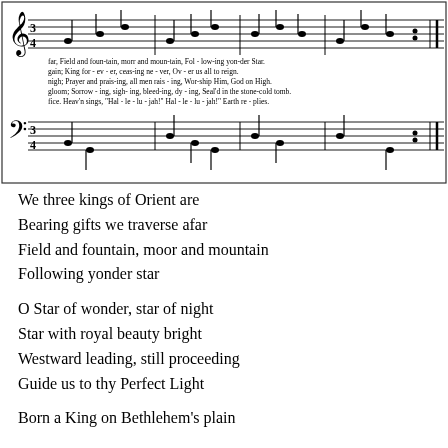[Figure (illustration): Sheet music notation for a Christmas hymn (We Three Kings), showing treble and bass clef staves with notes and lyrics underneath. Lyrics visible include multiple verses: 'far, Field and foun-tain, morr and moun-tain, Fol-low-ing yon-der Star.', 'gain; King for-ev-er, ceas-ing ne-ver, Ov-er us all to reign.', 'nigh; Prayer and prais-ing, all men rais-ing, Wor-ship Him, God on High.', 'gloom; Sor-row-ing, sigh-ing, bleed-ing, dy-ing, Seal'd in the stone-cold tomb.', 'fice. Heav'n sings, "Hal-le-lu-jah!" Hal-le-lu-jah!" Earth re-plies.']
We three kings of Orient are
Bearing gifts we traverse afar
Field and fountain, moor and mountain
Following yonder star
O Star of wonder, star of night
Star with royal beauty bright
Westward leading, still proceeding
Guide us to thy Perfect Light
Born a King on Bethlehem's plain